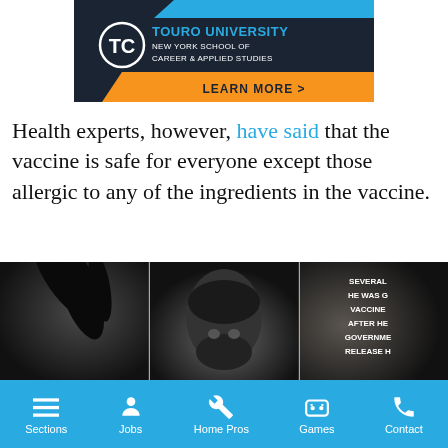[Figure (logo): Touro University New York School of Career & Applied Studies advertisement banner with logo, blue accent bar, and orange Learn More button]
Health experts, however, have said that the vaccine is safe for everyone except those allergic to any of the ingredients in the vaccine.
[Figure (photo): Three-panel photo strip: dark feathery figure on left, person wearing Nike hat and face mask in center, person gesturing with text overlay on right]
Sections | Jobs | Home Pros | Games | Contact